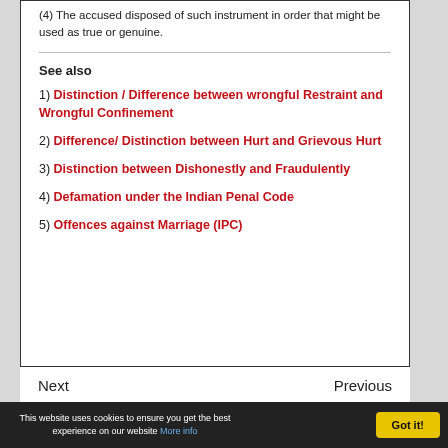(4) The accused disposed of such instrument in order that might be used as true or genuine.
See also
1) Distinction / Difference between wrongful Restraint and Wrongful Confinement
2) Difference/ Distinction between Hurt and Grievous Hurt
3) Distinction between Dishonestly and Fraudulently
4) Defamation under the Indian Penal Code
5) Offences against Marriage (IPC)
Next    Previous
This website uses cookies to ensure you get the best experience on our website More info  Got it!